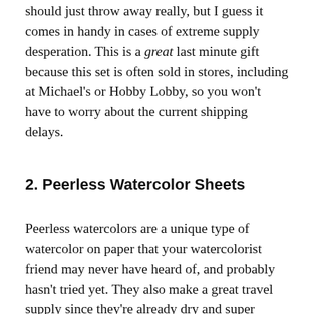should just throw away really, but I guess it comes in handy in cases of extreme supply desperation. This is a great last minute gift because this set is often sold in stores, including at Michael's or Hobby Lobby, so you won't have to worry about the current shipping delays.
2. Peerless Watercolor Sheets
Peerless watercolors are a unique type of watercolor on paper that your watercolorist friend may never have heard of, and probably hasn't tried yet. They also make a great travel supply since they're already dry and super pigmented. They've got a long and storied history as well, as they have been around since 1885. They also have identified if they had a right...